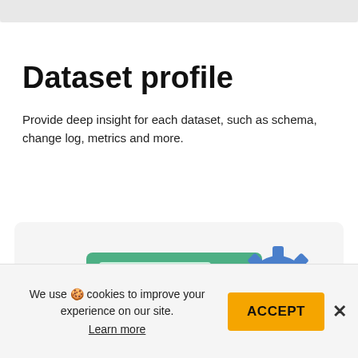Dataset profile
Provide deep insight for each dataset, such as schema, change log, metrics and more.
[Figure (illustration): Illustration of a green table/database icon with a blue gear/cog icon overlapping it, suggesting dataset configuration or profiling functionality.]
We use 🍪 cookies to improve your experience on our site. Learn more
ACCEPT